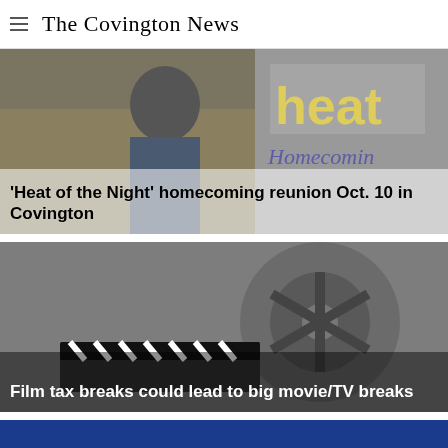The Covington News
[Figure (photo): News article image for 'Heat of the Night' homecoming with photo of a man and Heat Homecoming logo overlay]
'Heat of the Night' homecoming reunion Oct. 10 in Covington
[Figure (photo): Film reel and clapperboard image for film tax breaks article]
Film tax breaks could lead to big movie/TV breaks
[Figure (other): Solid dark blue banner rectangle]